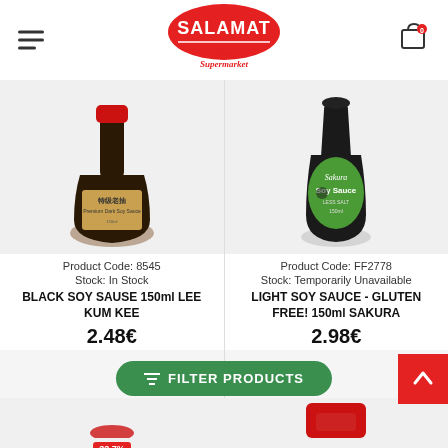[Figure (logo): Salamat Asian Supermarket logo — red arched banner with white text SALAMAT, Asian Supermarket in cursive below]
[Figure (photo): Lee Kum Kee Premium Dark Soy Sauce bottle, round dark bottle with red cap, Chinese label, 150ml]
Product Code: 8545
Stock: In Stock
BLACK SOY SAUSE 150ml LEE KUM KEE
2.48€
[Figure (photo): Sakura Soy Sauce bottle, dark bottle with green label showing 'Soy Sauce', 150ml]
Product Code: FF2778
Stock: Temporarily Unavailable
LIGHT SOY SAUCE - GLUTEN FREE! 150ml SAKURA
2.98€